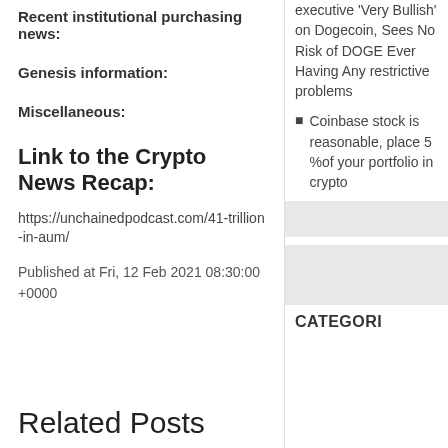Recent institutional purchasing news:
Genesis information:
Miscellaneous:
Link to the Crypto News Recap:
https://unchainedpodcast.com/41-trillion-in-aum/
Published at Fri, 12 Feb 2021 08:30:00 +0000
Related Posts
executive 'Very Bullish' on Dogecoin, Sees No Risk of DOGE Ever Having Any restrictive problems
Coinbase stock is reasonable, place 5 %of your portfolio in crypto
CATEGORI